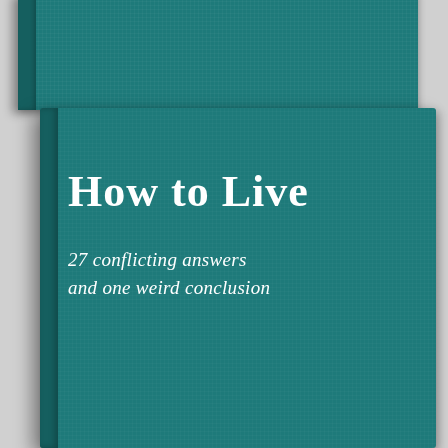[Figure (photo): A teal/dark cyan hardcover book titled 'How to Live: 27 conflicting answers and one weird conclusion'. Two copies of the book are shown — one partially visible at the top and one fully visible in front, both with a textured cloth-like cover. The front cover displays the title in large white serif bold text and the subtitle in white italic serif text below.]
How to Live
27 conflicting answers and one weird conclusion